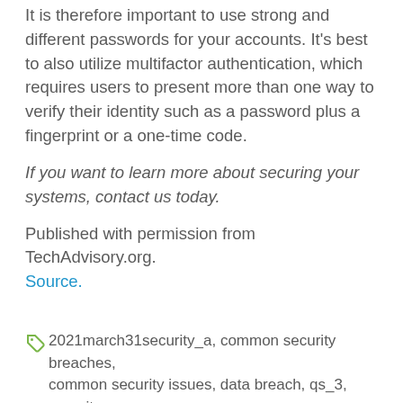It is therefore important to use strong and different passwords for your accounts. It's best to also utilize multifactor authentication, which requires users to present more than one way to verify their identity such as a password plus a fingerprint or a one-time code.
If you want to learn more about securing your systems, contact us today.
Published with permission from TechAdvisory.org. Source.
2021march31security_a, common security breaches, common security issues, data breach, qs_3, security, security breach, security tips